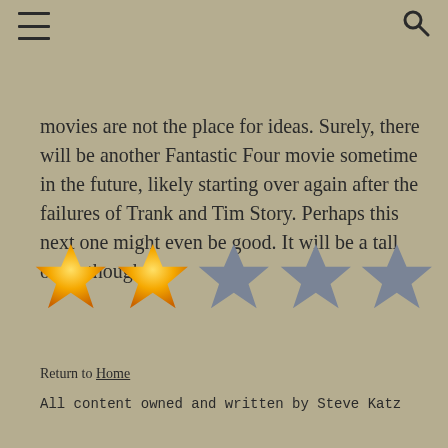[hamburger menu] [search icon]
movies are not the place for ideas. Surely, there will be another Fantastic Four movie sometime in the future, likely starting over again after the failures of Trank and Tim Story. Perhaps this next one might even be good. It will be a tall order though.
[Figure (other): Star rating graphic showing 2 out of 5 stars filled in gold/orange, remaining 3 stars in grey]
Return to Home
All content owned and written by Steve Katz